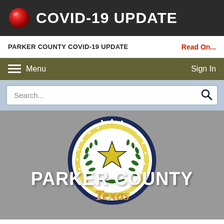COVID-19 UPDATE
PARKER COUNTY COVID-19 UPDATE	Read On...
Menu	Sign In
Search...
[Figure (logo): Parker County Texas official government website screenshot showing COVID-19 update banner, navigation menu, search bar, and Parker County seal with PARKER COUNTY Texas text below]
PARKER COUNTY Texas